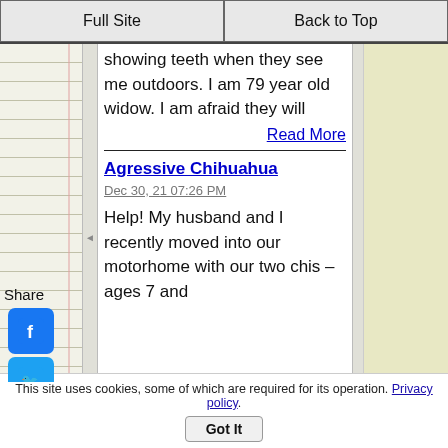Full Site | Back to Top
showing teeth when they see me outdoors. I am 79 year old widow. I am afraid they will
Read More
Agressive Chihuahua
Dec 30, 21 07:26 PM
Help! My husband and I recently moved into our motorhome with our two chis – ages 7 and
This site uses cookies, some of which are required for its operation. Privacy policy.
Got It